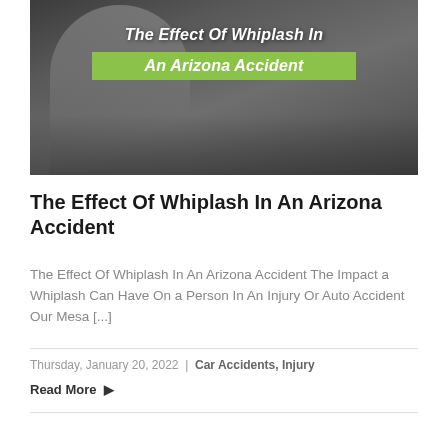[Figure (photo): Dark-toned photo of a woman holding her neck/head in pain after a car accident, with overlaid text 'The Effect Of Whiplash In An Arizona Accident' where the second line has a green highlight background.]
The Effect Of Whiplash In An Arizona Accident
The Effect Of Whiplash In An Arizona Accident The Impact a Whiplash Can Have On a Person In An Injury Or Auto Accident Our Mesa [...]
Thursday, January 20, 2022 | Car Accidents, Injury
Read More ▷